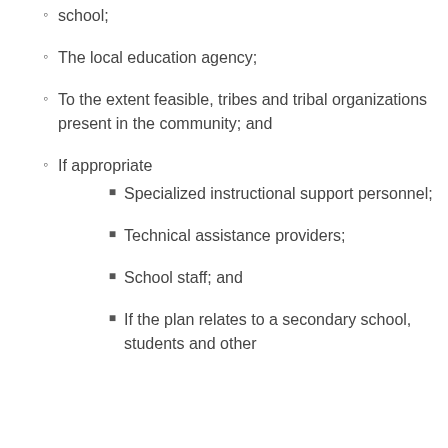school;
The local education agency;
To the extent feasible, tribes and tribal organizations present in the community; and
If appropriate
Specialized instructional support personnel;
Technical assistance providers;
School staff; and
If the plan relates to a secondary school, students and other